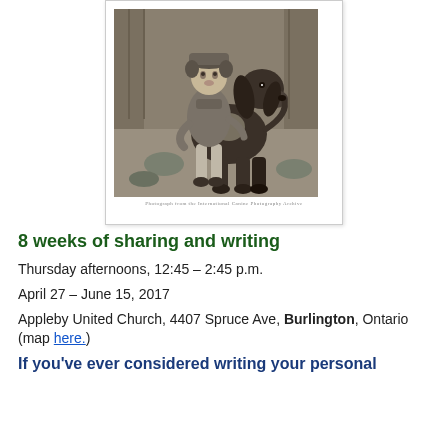[Figure (photo): Black and white vintage photo of a small child hugging a large hound dog. The child is wearing a coat and hat, the dog has long droopy ears. They are outdoors on a path.]
8 weeks of sharing and writing
Thursday afternoons, 12:45 – 2:45 p.m.
April 27 – June 15, 2017
Appleby United Church, 4407 Spruce Ave, Burlington, Ontario (map here.)
If you've ever considered writing your personal